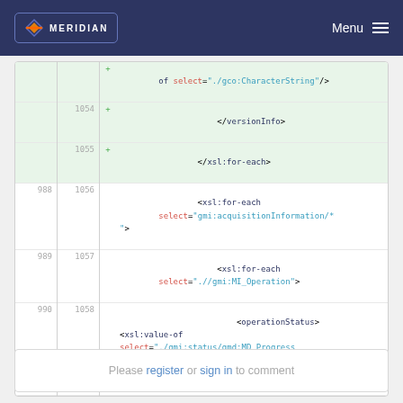MERIDIAN Menu
[Figure (screenshot): Code diff viewer showing XML/XSL code snippet with line numbers. Lines 1054-1055 are added (green background) showing </versionInfo> and </xsl:for-each>. Lines 988/1056, 989/1057, 990/1058 show xsl:for-each and operationStatus XML elements.]
Please register or sign in to comment